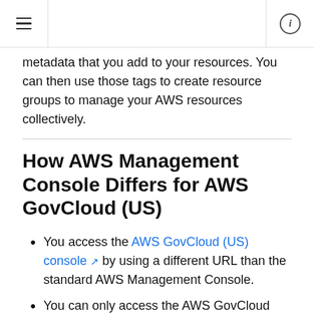metadata that you add to your resources. You can then use those tags to create resource groups to manage your AWS resources collectively.
How AWS Management Console Differs for AWS GovCloud (US)
You access the AWS GovCloud (US) console by using a different URL than the standard AWS Management Console.
You can only access the AWS GovCloud (US) console by using an IAM user name and password, not with the GovCloud account root user email address. You cannot enable an MFA device for your AWS GovCloud (US) account root email, but can enable for IAM users. For information about the AWS GovCloud (US)